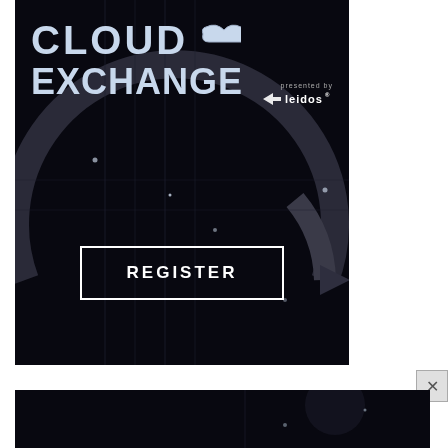[Figure (illustration): Cloud Exchange conference advertisement banner. Dark background with circuit/network graphic lines and glowing effects. Large 'CLOUD EXCHANGE' text logo at top with cloud icon, 'presented by leidos' branding. A white-bordered REGISTER button in the lower middle area. Dark tech aesthetic with grey circular arrow graphics.]
[Figure (illustration): Cloud Exchange banner ad. Dark background with tech graphic. Text: 'JOIN US FOR A SPECIAL EVENT SEPTEMBER 13–15' on left, Cloud Exchange logo on right.]